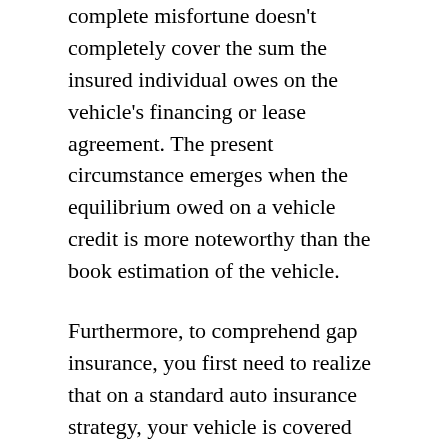complete misfortune doesn't completely cover the sum the insured individual owes on the vehicle's financing or lease agreement. The present circumstance emerges when the equilibrium owed on a vehicle credit is more noteworthy than the book estimation of the vehicle.
Furthermore, to comprehend gap insurance, you first need to realize that on a standard auto insurance strategy, your vehicle is covered for the actual cash value or depreciated value at the hour of a clam. Gap insurance is a discretionary sort of vehicle insurance inclusion that gives supplemental inclusion to the difference between the actual cash value (ACV) of your